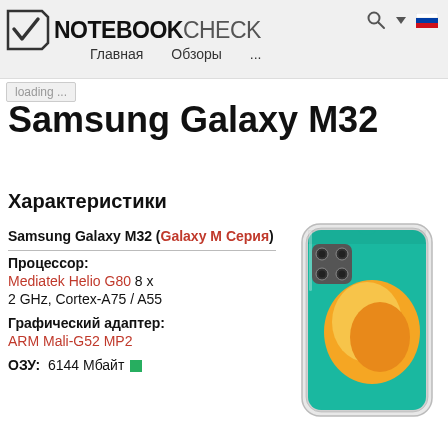NOTEBOOKCHECK — Главная  Обзоры  ...
loading ...
Samsung Galaxy M32
Характеристики
[Figure (photo): Samsung Galaxy M32 smartphone in white/silver color, front and back view showing quad-camera setup and colorful display]
Samsung Galaxy M32 (Galaxy M Серия)
Процессор: Mediatek Helio G80 8 x 2 GHz, Cortex-A75 / A55
Графический адаптер: ARM Mali-G52 MP2
ОЗУ:  6144 Мбайт